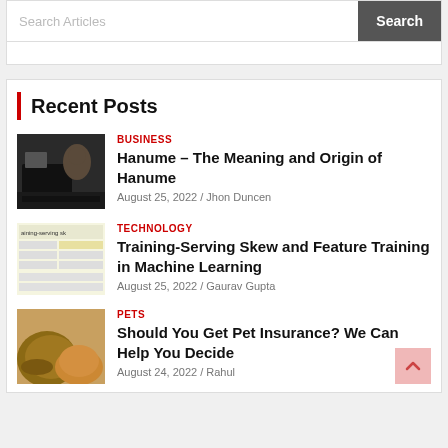Search Articles / Search
Recent Posts
[Figure (photo): Person sitting at desk with computer in dark business setting]
BUSINESS
Hanume – The Meaning and Origin of Hanume
August 25, 2022 / Jhon Duncen
[Figure (screenshot): Training-serving skew diagram with tables and text]
TECHNOLOGY
Training-Serving Skew and Feature Training in Machine Learning
August 25, 2022 / Gaurav Gupta
[Figure (photo): Dog and cat lying together]
PETS
Should You Get Pet Insurance? We Can Help You Decide
August 24, 2022 / Rahul